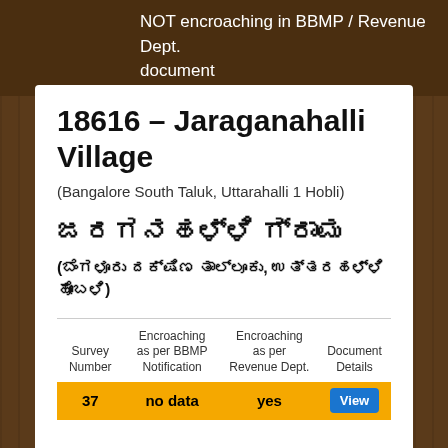NOT encroaching in BBMP / Revenue Dept. document
18616 – Jaraganahalli Village
(Bangalore South Taluk, Uttarahalli 1 Hobli)
ಜರಗನಹಳ್ಳಿ ಗ್ರಾಮ
(ಬೆಂಗಳೂರು ದಕ್ಷಿಣ ತಾಲ್ಲೂಕು, ಉತ್ತರಹಳ್ಳಿ ಹೋಬಳಿ)
| Survey Number | Encroaching as per BBMP Notification | Encroaching as per Revenue Dept. | Document Details |
| --- | --- | --- | --- |
| 37 | no data | yes | View |